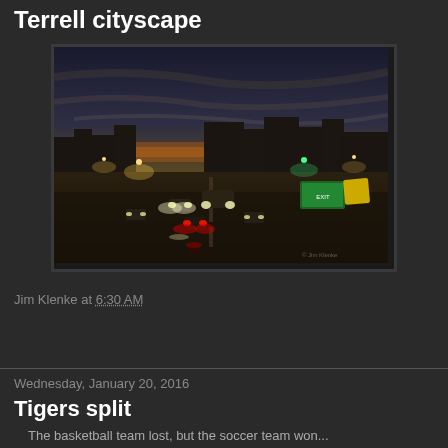Terrell cityscape
[Figure (photo): Night cityscape photo of Terrell, Texas showing a busy street at dusk/sunset with car headlights and taillights, wet pavement, city buildings silhouetted against an orange and grey sky. Photo credited to Jim Klenke.]
Jim Klenke at 6:30 AM
Share
Wednesday, January 20, 2016
Tigers split
The basketball team lost, but the soccer team won...